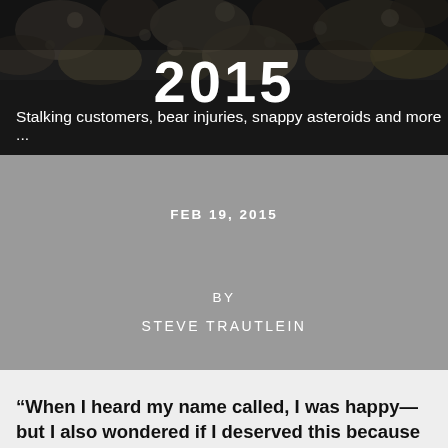[Figure (photo): Dark background with rocks/asteroids, hero image for article header]
2015
Stalking customers, bear injuries, snappy asteroids and more ...
FEB 19, 2015
BY
STEVE TRAUTLEIN
“When I heard my name called, I was happy—but I also wondered if I deserved this because the other finalists were great."